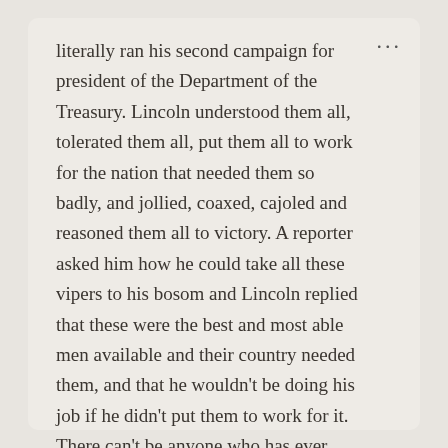literally ran his second campaign for president of the Department of the Treasury. Lincoln understood them all, tolerated them all, put them all to work for the nation that needed them so badly, and jollied, coaxed, cajoled and reasoned them all to victory. A reporter asked him how he could take all these vipers to his bosom and Lincoln replied that these were the best and most able men available and their country needed them, and that he wouldn't be doing his job if he didn't put them to work for it. There can't be anyone who has ever occupied the Oval Office more selfless than Abe.